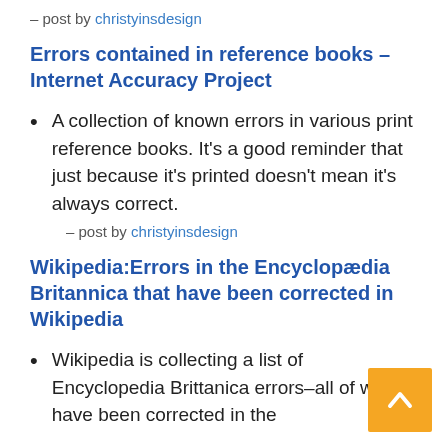– post by christyinsdesign
Errors contained in reference books – Internet Accuracy Project
A collection of known errors in various print reference books. It's a good reminder that just because it's printed doesn't mean it's always correct.
– post by christyinsdesign
Wikipedia:Errors in the Encyclopædia Britannica that have been corrected in Wikipedia
Wikipedia is collecting a list of Encyclopedia Brittanica errors–all of which have been corrected in the